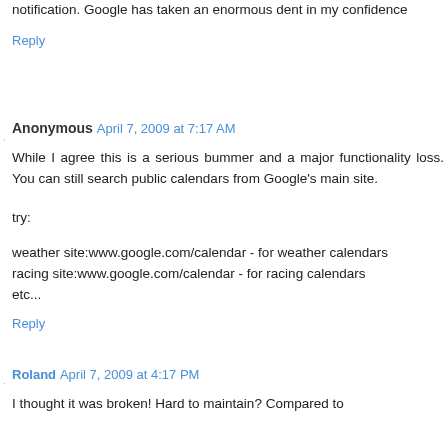notification. Google has taken an enormous dent in my confidence
Reply
Anonymous April 7, 2009 at 7:17 AM
While I agree this is a serious bummer and a major functionality loss. You can still search public calendars from Google's main site.
try:
weather site:www.google.com/calendar - for weather calendars
racing site:www.google.com/calendar - for racing calendars
etc...
Reply
Roland April 7, 2009 at 4:17 PM
I thought it was broken! Hard to maintain? Compared to